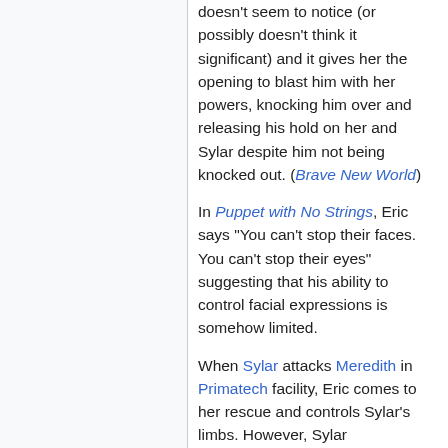doesn't seem to notice (or possibly doesn't think it significant) and it gives her the opening to blast him with her powers, knocking him over and releasing his hold on her and Sylar despite him not being knocked out. (Brave New World)
In Puppet with No Strings, Eric says "You can't stop their faces. You can't stop their eyes" suggesting that his ability to control facial expressions is somehow limited.
When Sylar attacks Meredith in Primatech facility, Eric comes to her rescue and controls Sylar's limbs. However, Sylar overpowers Eric and makes him collapse, thus ending Eric's hold of him. (Dual)
In Nowhere Man, Part 4, Eric is shown to close a door using his power, showing